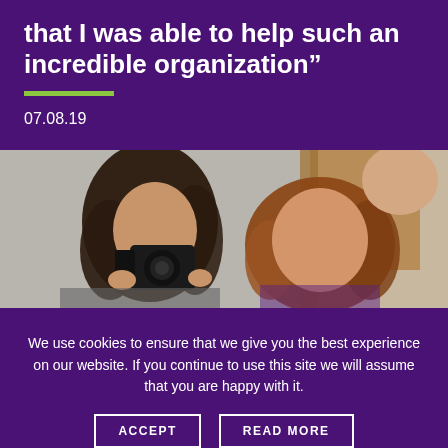that I was able to help such an incredible organization”
07.08.19
[Figure (photo): A woman with curly dark hair photographing with a camera, and two other people visible behind her in an indoor setting.]
We use cookies to ensure that we give you the best experience on our website. If you continue to use this site we will assume that you are happy with it.
ACCEPT   READ MORE